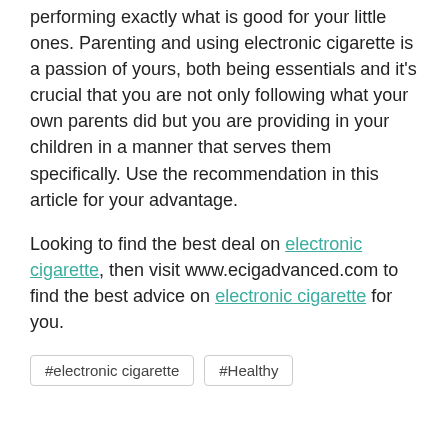performing exactly what is good for your little ones. Parenting and using electronic cigarette is a passion of yours, both being essentials and it's crucial that you are not only following what your own parents did but you are providing in your children in a manner that serves them specifically. Use the recommendation in this article for your advantage.
Looking to find the best deal on electronic cigarette, then visit www.ecigadvanced.com to find the best advice on electronic cigarette for you.
#electronic cigarette
#Healthy